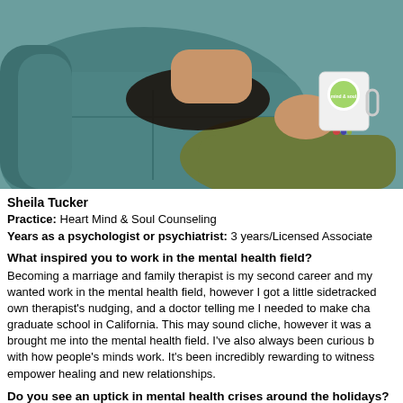[Figure (photo): Person seated in a teal/blue upholstered chair holding a white 'mind & soul' branded mug, wearing olive green pants and colorful bracelets on wrist, black top visible.]
Sheila Tucker
Practice: Heart Mind & Soul Counseling
Years as a psychologist or psychiatrist: 3 years/Licensed Associate
What inspired you to work in the mental health field?
Becoming a marriage and family therapist is my second career and my wanted work in the mental health field, however I got a little sidetracked own therapist's nudging, and a doctor telling me I needed to make cha graduate school in California. This may sound cliche, however it was a brought me into the mental health field. I've also always been curious b with how people's minds work. It's been incredibly rewarding to witness empower healing and new relationships.
Do you see an uptick in mental health crises around the holidays?
I don't see an uptick in mental health crises, per say, around the holida an increase in stress-related complaints, which can exacerbate depres